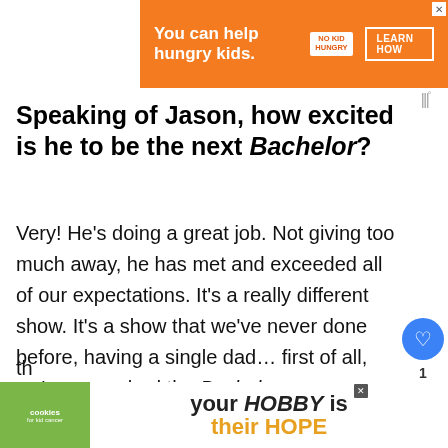[Figure (screenshot): Orange ad banner: 'You can help hungry kids. NO KID HUNGRY LEARN HOW']
Speaking of Jason, how excited is he to be the next Bachelor?
Very! He's doing a great job. Not giving too much away, he has met and exceeded all of our expectations. It's a really different show. It's a show that we've never done before, having a single dad… first of all, we've never had the Bachelor or Bachelorette be a parent before. We've had some contestants
[Figure (screenshot): WHAT'S NEXT widget with thumbnail and text 'Everything You Need to...']
[Figure (screenshot): Bottom ad banner: cookies for kid cancer logo, 'your HOBBY is their HOPE']